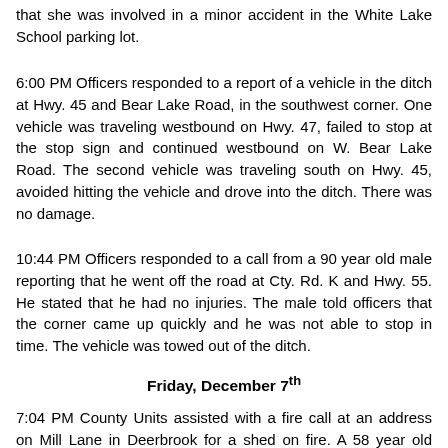that she was involved in a minor accident in the White Lake School parking lot.
6:00 PM Officers responded to a report of a vehicle in the ditch at Hwy. 45 and Bear Lake Road, in the southwest corner. One vehicle was traveling westbound on Hwy. 47, failed to stop at the stop sign and continued westbound on W. Bear Lake Road. The second vehicle was traveling south on Hwy. 45, avoided hitting the vehicle and drove into the ditch. There was no damage.
10:44 PM Officers responded to a call from a 90 year old male reporting that he went off the road at Cty. Rd. K and Hwy. 55. He stated that he had no injuries. The male told officers that the corner came up quickly and he was not able to stop in time. The vehicle was towed out of the ditch.
Friday, December 7th
7:04 PM County Units assisted with a fire call at an address on Mill Lane in Deerbrook for a shed on fire. A 58 year old male